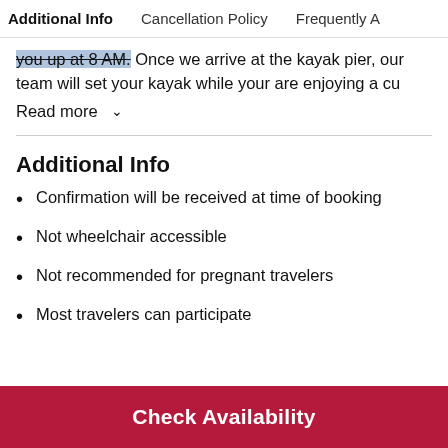Additional Info | Cancellation Policy | Frequently A
you up at 8 AM. Once we arrive at the kayak pier, our team will set your kayak while your are enjoying a cu
Read more
Additional Info
Confirmation will be received at time of booking
Not wheelchair accessible
Not recommended for pregnant travelers
Most travelers can participate
Check Availability